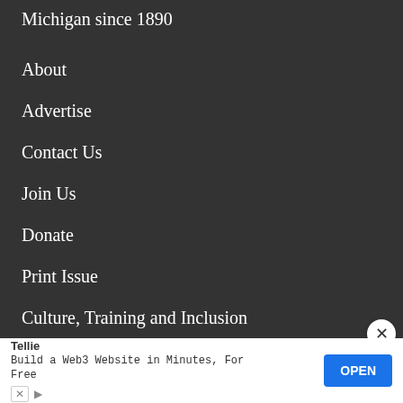Michigan since 1890
About
Advertise
Contact Us
Join Us
Donate
Print Issue
Culture, Training and Inclusion
Archives
Tellie
Build a Web3 Website in Minutes, For Free
OPEN